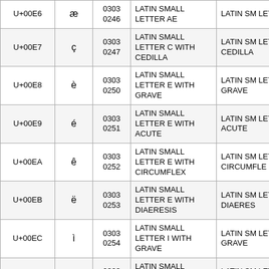| Code | Char | Index | Unicode Name | Unicode Name (cont.) |
| --- | --- | --- | --- | --- |
| U+00E6 | æ | 0303
0246 | LATIN SMALL LETTER AE | LATIN SM LETTER A |
| U+00E7 | ç | 0303
0247 | LATIN SMALL LETTER C WITH CEDILLA | LATIN SM LETTER C CEDILLA |
| U+00E8 | è | 0303
0250 | LATIN SMALL LETTER E WITH GRAVE | LATIN SM LETTER E GRAVE |
| U+00E9 | é | 0303
0251 | LATIN SMALL LETTER E WITH ACUTE | LATIN SM LETTER E ACUTE |
| U+00EA | ê | 0303
0252 | LATIN SMALL LETTER E WITH CIRCUMFLEX | LATIN SM LETTER E CIRCUMFLEX |
| U+00EB | ë | 0303
0253 | LATIN SMALL LETTER E WITH DIAERESIS | LATIN SM LETTER E DIAERESIS |
| U+00EC | ì | 0303
0254 | LATIN SMALL LETTER I WITH GRAVE | LATIN SM LETTER I GRAVE |
| U+00ED | í | 0303
0255 | LATIN SMALL LETTER I WITH ACUTE | LATIN SM LETTER I ACUTE |
|  |  | 0303 | LATIN SMALL | LATIN SM |